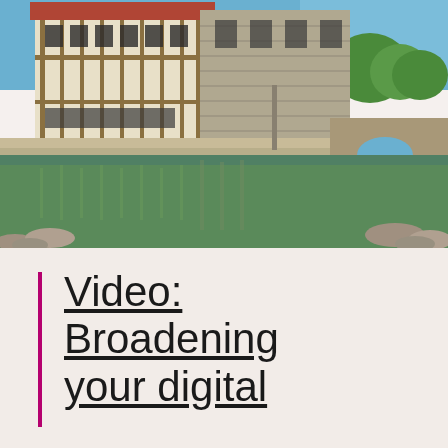[Figure (photo): A historic medieval manor house with timber-framed and stone construction, reflected in a moat or pond, with a stone bridge arch visible on the right side, blue sky and green trees in background]
Video: Broadening your digital